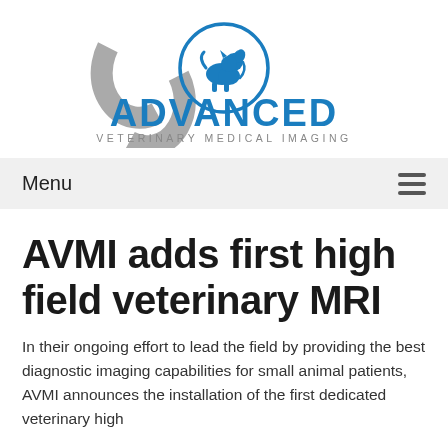[Figure (logo): Advanced Veterinary Medical Imaging logo — grey MRI-machine bracket shapes flanking a blue circle with silhouettes of a dog and cat; bold blue text 'ADVANCED' below; grey spaced text 'VETERINARY MEDICAL IMAGING' beneath that]
Menu
AVMI adds first high field veterinary MRI
In their ongoing effort to lead the field by providing the best diagnostic imaging capabilities for small animal patients, AVMI announces the installation of the first dedicated veterinary high